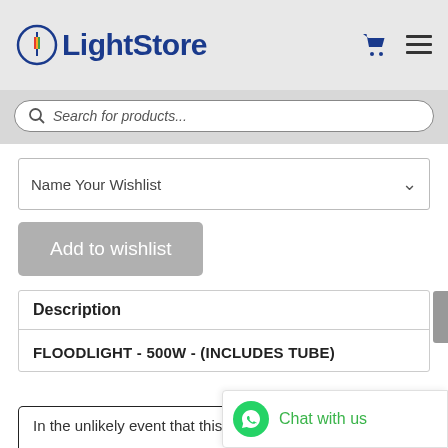LightStore
Search for products...
Name Your Wishlist
Add to wishlist
Description
FLOODLIGHT - 500W - (INCLUDES TUBE)
Chat with us
In the unlikely event that this product is out of